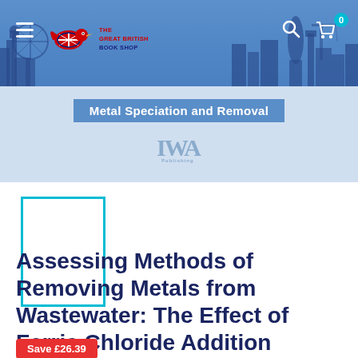[Figure (screenshot): Great British Book Shop website header with navigation bar showing hamburger menu, logo with Union Jack bird icon and 'THE GREAT BRITISH BOOK SHOP' text, search icon, and cart icon with badge showing 0. Blue background with city skyline silhouette.]
[Figure (illustration): Blue/grey banner section showing 'Metal Speciation and Removal' text and IWA Publishing logo]
[Figure (illustration): Book cover thumbnail placeholder - white rectangle with teal/cyan border]
Assessing Methods of Removing Metals from Wastewater: The Effect of Ferric Chloride Addition
Save £26.39